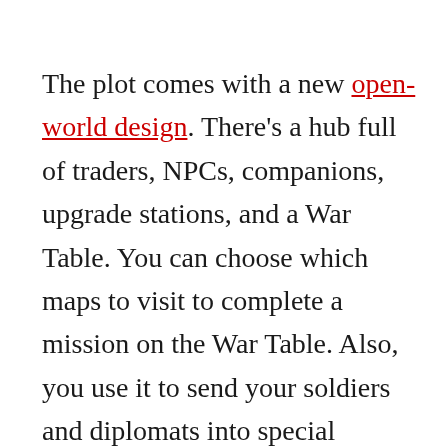The plot comes with a new open-world design. There's a hub full of traders, NPCs, companions, upgrade stations, and a War Table. You can choose which maps to visit to complete a mission on the War Table. Also, you use it to send your soldiers and diplomats into special missions to gain loot, resources, and allies.
There're several maps in the game, and each is vast and open. You need to